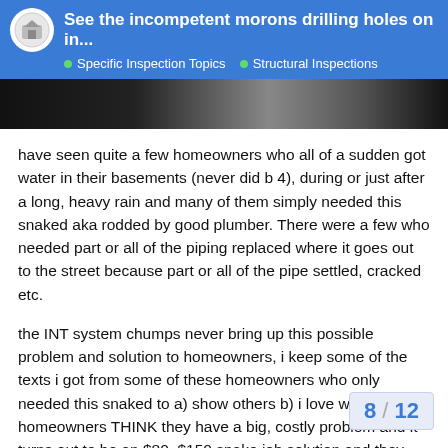See the incompetent morons drilling holes on in... | Specific Inspection Topics | Structural Inspections
[Figure (photo): Dark photo strip, partial image of a person or scene]
have seen quite a few homeowners who all of a sudden got water in their basements (never did b 4), during or just after a long, heavy rain and many of them simply needed this snaked aka rodded by good plumber. There were a few who needed part or all of the piping replaced where it goes out to the street because part or all of the pipe settled, cracked etc.
the INT system chumps never bring up this possible problem and solution to homeowners, i keep some of the texts i got from some of these homeowners who only needed this snaked to a) show others b) i love when homeowners THINK they have a big, costly problem and it turns out to be an $80–$150 snake job solution and they already had 1 or more INT system Bozo's over who told them they needed their INT system and sump pump n quoted them $10,000–$25,000
to be CLEAR… lol, some homeowners get all along the perimeter, or most of it during...
8 / 12